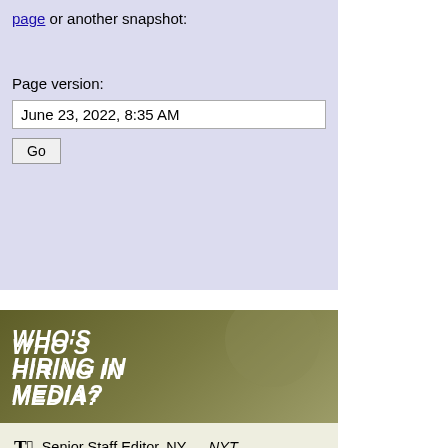page or another snapshot:
Page version:
June 23, 2022, 8:35 AM
Go
[Figure (infographic): WHO'S HIRING IN MEDIA? sidebar widget with olive/khaki gradient header and job listings below]
Senior Staff Editor, NY — NYT
Asia Oil Trading Reporter - New Delhi — Bloomberg
Tech Correspondent, London — Reuters
Social Media Editor, DC — WaPo